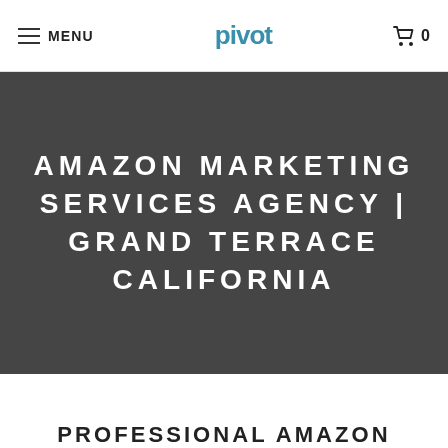MENU  pivot  0
AMAZON MARKETING SERVICES AGENCY | GRAND TERRACE CALIFORNIA
PROFESSIONAL AMAZON